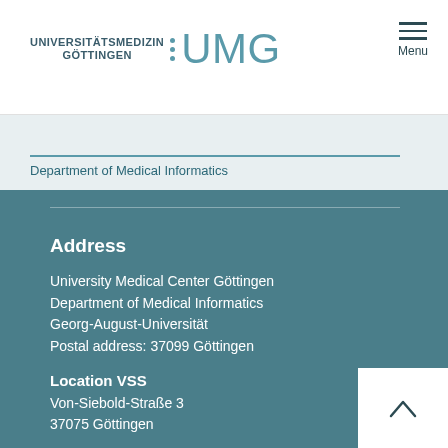[Figure (logo): Universitätsmedizin Göttingen UMG logo with teal dots and light blue UMG text]
Menu
Department of Medical Informatics
Address
University Medical Center Göttingen
Department of Medical Informatics
Georg-August-Universität
Postal address: 37099 Göttingen
Location VSS
Von-Siebold-Straße 3
37075 Göttingen
Location Hospital
Robert-Koch-Straße 40
37075 Göttingen